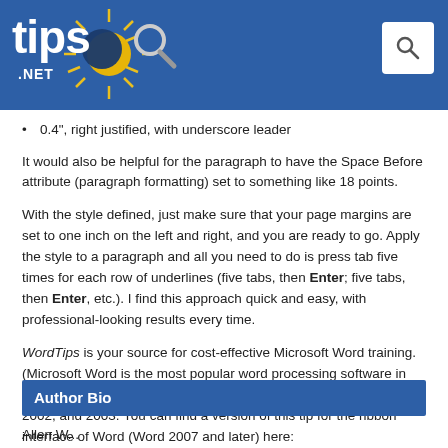tips.NET [website header with logo and search]
0.4", right justified, with underscore leader
It would also be helpful for the paragraph to have the Space Before attribute (paragraph formatting) set to something like 18 points.
With the style defined, just make sure that your page margins are set to one inch on the left and right, and you are ready to go. Apply the style to a paragraph and all you need to do is press tab five times for each row of underlines (five tabs, then Enter; five tabs, then Enter, etc.). I find this approach quick and easy, with professional-looking results every time.
WordTips is your source for cost-effective Microsoft Word training. (Microsoft Word is the most popular word processing software in the world.) This tip (1363) applies to Microsoft Word 97, 2000, 2002, and 2003. You can find a version of this tip for the ribbon interface of Word (Word 2007 and later) here: Sign-in Sheets.
Author Bio